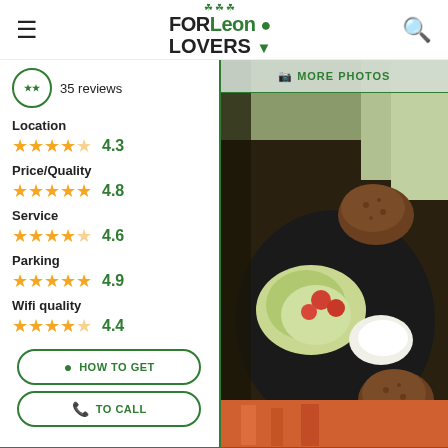FORLeon LOVERS
35 reviews
MORE PHOTOS
Location 4.3
Price/Quality 4.8
Service 4.6
Parking 4.9
Wifi quality 4.4
[Figure (photo): Food plate with falafel balls, fresh salad with tomatoes and cabbage, and sour cream on a black oval plate]
HOW TO GET
TO CALL